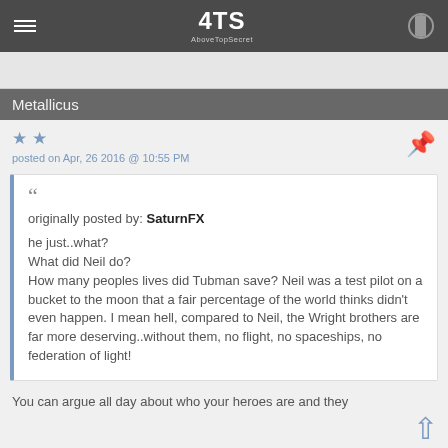ATS - AboveTopSecret
Metallicus
posted on Apr, 26 2016 @ 10:55 PM
originally posted by: SaturnFX

he just..what?
What did Neil do?
How many peoples lives did Tubman save? Neil was a test pilot on a bucket to the moon that a fair percentage of the world thinks didn't even happen. I mean hell, compared to Neil, the Wright brothers are far more deserving..without them, no flight, no spaceships, no federation of light!
You can argue all day about who your heroes are and they